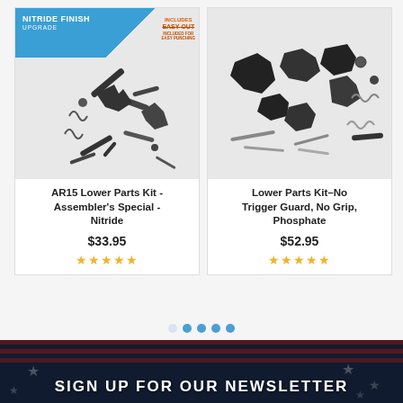[Figure (photo): AR15 Lower Parts Kit - Assembler's Special - Nitride product image with blue nitride finish upgrade banner and orange 'Includes Easy-Out' badge overlay]
AR15 Lower Parts Kit - Assembler's Special - Nitride
$33.95
[Figure (photo): Lower Parts Kit - No Trigger Guard, No Grip, Phosphate product image showing various AR15 lower parts components]
Lower Parts Kit–No Trigger Guard, No Grip, Phosphate
$52.95
[Figure (other): Pagination dots: 5 dots with first one lighter (inactive) and rest filled blue]
[Figure (photo): Newsletter signup banner with American flag background]
SIGN UP FOR OUR NEWSLETTER